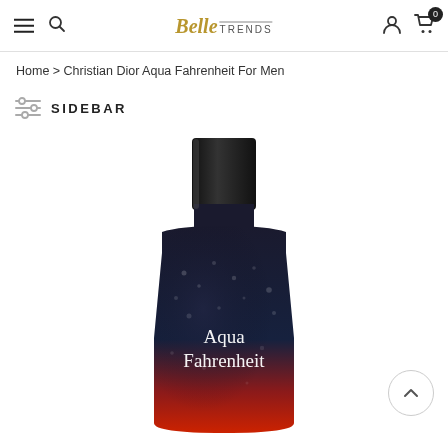Belle TRENDS — navigation header with hamburger menu, search, account, and cart icons
Home > Christian Dior Aqua Fahrenheit For Men
SIDEBAR
[Figure (photo): Product photo of Christian Dior Aqua Fahrenheit cologne bottle — dark navy/black bottle with red gradient base, water droplets on surface, white serif text reading 'Aqua Fahrenheit' on the bottle body, cylindrical black cap on top.]